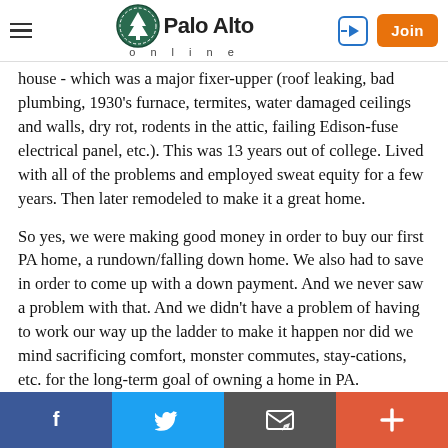Palo Alto online
house - which was a major fixer-upper (roof leaking, bad plumbing, 1930's furnace, termites, water damaged ceilings and walls, dry rot, rodents in the attic, failing Edison-fuse electrical panel, etc.). This was 13 years out of college. Lived with all of the problems and employed sweat equity for a few years. Then later remodeled to make it a great home.
So yes, we were making good money in order to buy our first PA home, a rundown/falling down home. We also had to save in order to come up with a down payment. And we never saw a problem with that. And we didn't have a problem of having to work our way up the ladder to make it happen nor did we mind sacrificing comfort, monster commutes, stay-cations, etc. for the long-term goal of owning a home in PA.
Social share bar: Facebook, Twitter, Email, More